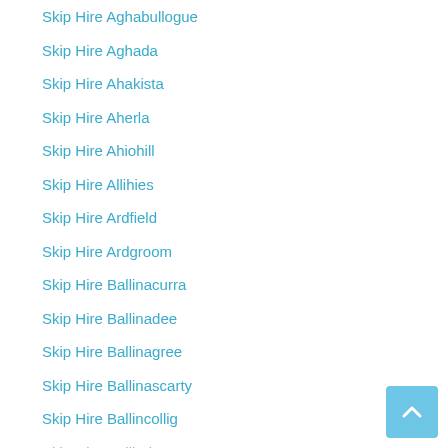Skip Hire Aghabullogue
Skip Hire Aghada
Skip Hire Ahakista
Skip Hire Aherla
Skip Hire Ahiohill
Skip Hire Allihies
Skip Hire Ardfield
Skip Hire Ardgroom
Skip Hire Ballinacurra
Skip Hire Ballinadee
Skip Hire Ballinagree
Skip Hire Ballinascarty
Skip Hire Ballincollig
Skip Hire Ballindangan